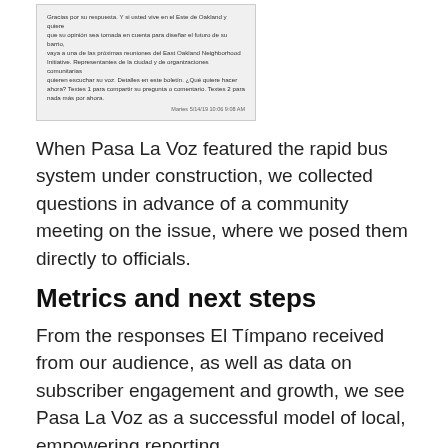[Figure (screenshot): Screenshot of a text message in Spanish about East Oakland Neighborhood Initiative community meetings, with a timestamp at the bottom right.]
When Pasa La Voz featured the rapid bus system under construction, we collected questions in advance of a community meeting on the issue, where we posed them directly to officials.
Metrics and next steps
From the responses El Tímpano received from our audience, as well as data on subscriber engagement and growth, we see Pasa La Voz as a successful model of local, empowering reporting.
Here’s what we know:
By the end of the pilot, 399 people had signed up to receive Pasa La Voz.